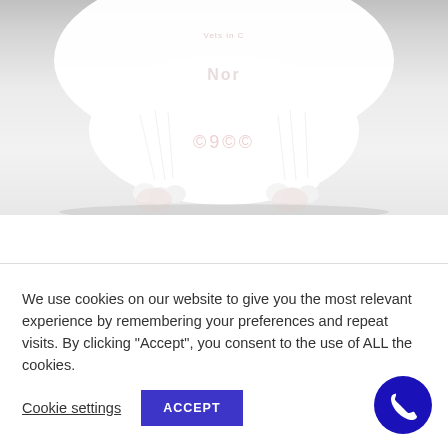[Figure (photo): White fluffy animal (dog or cat) with paws visible, on a light gray/white background. Watermark text partially visible.]
We use cookies on our website to give you the most relevant experience by remembering your preferences and repeat visits. By clicking “Accept”, you consent to the use of ALL the cookies.
Cookie settings
ACCEPT